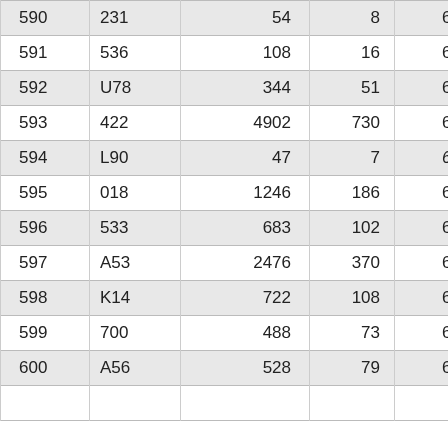| 590 | 231 | 54 | 8 | 6.75 |
| 591 | 536 | 108 | 16 | 6.75 |
| 592 | U78 | 344 | 51 | 6.75 |
| 593 | 422 | 4902 | 730 | 6.72 |
| 594 | L90 | 47 | 7 | 6.71 |
| 595 | 018 | 1246 | 186 | 6.70 |
| 596 | 533 | 683 | 102 | 6.70 |
| 597 | A53 | 2476 | 370 | 6.69 |
| 598 | K14 | 722 | 108 | 6.69 |
| 599 | 700 | 488 | 73 | 6.68 |
| 600 | A56 | 528 | 79 | 6.68 |